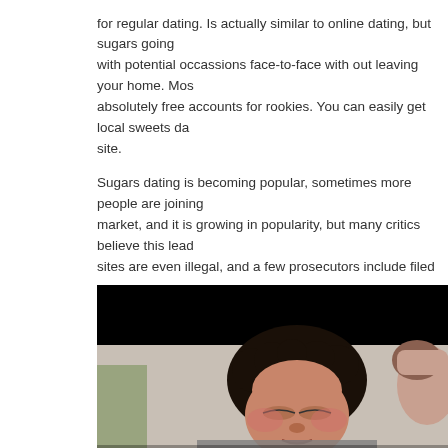for regular dating. Is actually similar to online dating, but sugars going with potential occassions face-to-face with out leaving your home. Most absolutely free accounts for rookies. You can easily get local sweets da site.
Sugars dating is becoming popular, sometimes more people are joining market, and it is growing in popularity, but many critics believe this lead sites are even illegal, and a few prosecutors include filed expenses aga about sugar dating websites. If you're considering signing up for sugar d years verification container. Having a state-issued photography ID is an
[Figure (photo): A person with curly dark hair sitting in a car, eyes closed, viewed from a close angle. The interior of the car is visible including the ceiling and a grab handle. Another person is partially visible on the right. The top portion of the image is black.]